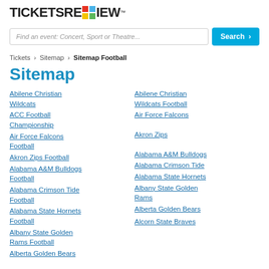TICKETSREVIEW™
Find an event: Concert, Sport or Theatre...
Tickets > Sitemap > Sitemap Football
Sitemap
Abilene Christian Wildcats
ACC Football Championship
Air Force Falcons Football
Akron Zips Football
Alabama A&M Bulldogs Football
Alabama Crimson Tide Football
Alabama State Hornets Football
Albany State Golden Rams Football
Alberta Golden Bears
Abilene Christian Wildcats Football
Air Force Falcons
Akron Zips
Alabama A&M Bulldogs
Alabama Crimson Tide
Alabama State Hornets
Albany State Golden Rams
Alberta Golden Bears
Alcorn State Braves